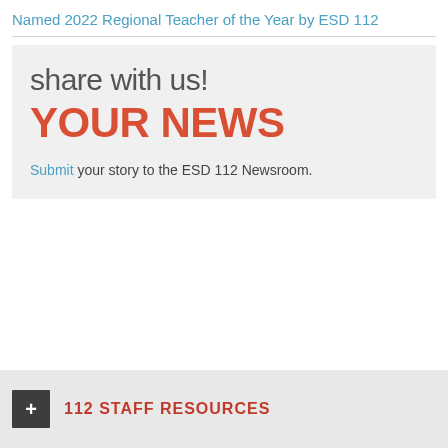Named 2022 Regional Teacher of the Year by ESD 112
[Figure (infographic): Grey box with 'share with us! YOUR NEWS' text and a submit call to action for the ESD 112 Newsroom.]
Submit your story to the ESD 112 Newsroom.
112 STAFF RESOURCES